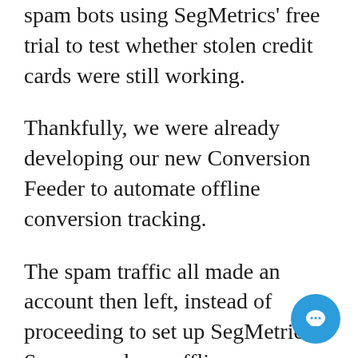spam bots using SegMetrics' free trial to test whether stolen credit cards were still working.
Thankfully, we were already developing our new Conversion Feeder to automate offline conversion tracking.
The spam traffic all made an account then left, instead of proceeding to set up SegMetrics. So, we made an offline conversion event for people who completed their set up within SegMetrics, proving they were a real person, and a valuable trial.